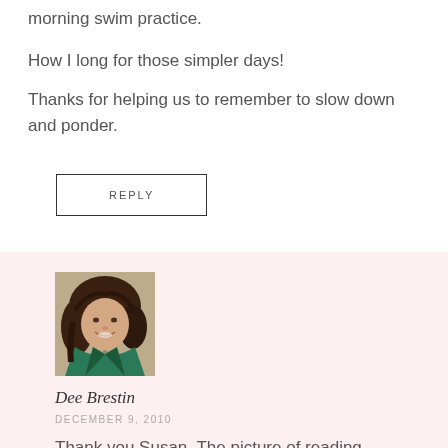morning swim practice.
How I long for those simpler days!
Thanks for helping us to remember to slow down and ponder.
REPLY
[Figure (photo): Profile photo of Dee Brestin, a woman with short brown hair wearing a teal/green top, smiling at camera]
Dee Brestin
DECEMBER 9, 2010
Thank you Susan. The picture of reading Christmas